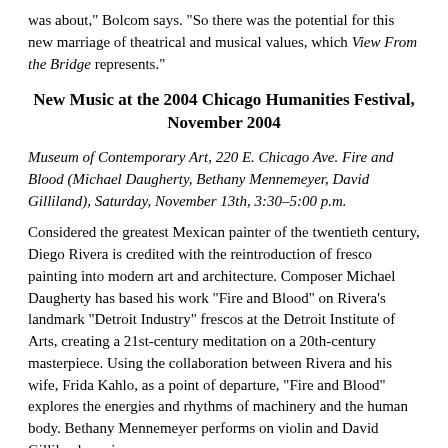was about," Bolcom says. "So there was the potential for this new marriage of theatrical and musical values, which View From the Bridge represents."
New Music at the 2004 Chicago Humanities Festival, November 2004
Museum of Contemporary Art, 220 E. Chicago Ave. Fire and Blood (Michael Daugherty, Bethany Mennemeyer, David Gilliland), Saturday, November 13th, 3:30–5:00 p.m.
Considered the greatest Mexican painter of the twentieth century, Diego Rivera is credited with the reintroduction of fresco painting into modern art and architecture. Composer Michael Daugherty has based his work "Fire and Blood" on Rivera's landmark "Detroit Industry" frescos at the Detroit Institute of Arts, creating a 21st-century meditation on a 20th-century masterpiece. Using the collaboration between Rivera and his wife, Frida Kahlo, as a point of departure, "Fire and Blood" explores the energies and rhythms of machinery and the human body. Bethany Mennemeyer performs on violin and David Gilliland on piano.
Simpson Theater, The Field Museum, 1400 S. Lake Shore Dr. Musical Celebration of Caldecott Illustrators (Fulcrum Point New Music Project, Stephen Burns, Bruce Adolphe, David Stock)